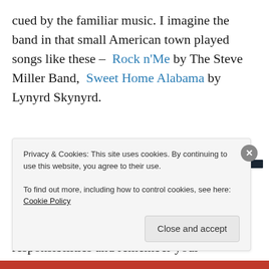cued by the familiar music. I imagine the band in that small American town played songs like these – Rock n'Me by The Steve Miller Band, Sweet Home Alabama by Lynyrd Skynyrd.
Advertisements
These easy-going tunes with their emphasis on good times and living in the moment are songs that make you want to forget daily responsibilities and remember your
Privacy & Cookies: This site uses cookies. By continuing to use this website, you agree to their use.
To find out more, including how to control cookies, see here: Cookie Policy

Close and accept